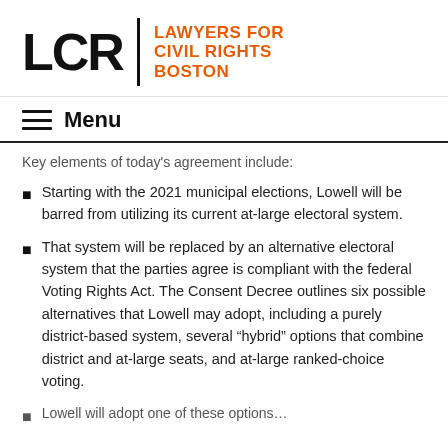[Figure (logo): LCR Lawyers for Civil Rights Boston logo with large bold LCR text, vertical divider, and orange text reading LAWYERS FOR CIVIL RIGHTS BOSTON]
Menu
Key elements of today's agreement include:
Starting with the 2021 municipal elections, Lowell will be barred from utilizing its current at-large electoral system.
That system will be replaced by an alternative electoral system that the parties agree is compliant with the federal Voting Rights Act. The Consent Decree outlines six possible alternatives that Lowell may adopt, including a purely district-based system, several “hybrid” options that combine district and at-large seats, and at-large ranked-choice voting.
Lowell will adopt one of these options...